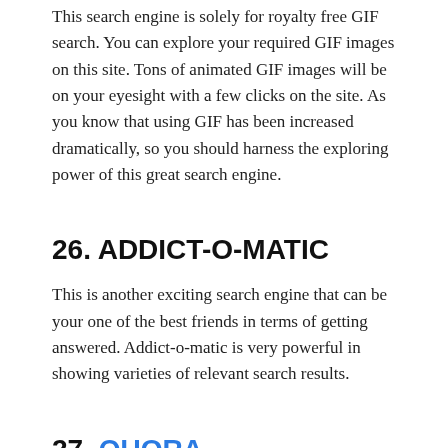This search engine is solely for royalty free GIF search. You can explore your required GIF images on this site. Tons of animated GIF images will be on your eyesight with a few clicks on the site. As you know that using GIF has been increased dramatically, so you should harness the exploring power of this great search engine.
26. ADDICT-O-MATIC
This is another exciting search engine that can be your one of the best friends in terms of getting answered. Addict-o-matic is very powerful in showing varieties of relevant search results.
27. QUORA